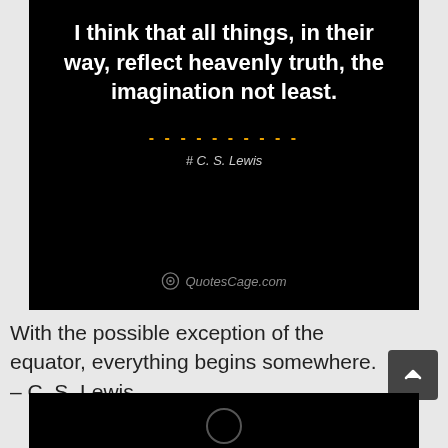[Figure (illustration): Black background quote card with white bold text reading 'I think that all things, in their way, reflect heavenly truth, the imagination not least.' with a yellow dashed line and attribution '# C. S. Lewis' in grey italic text, and a QuotesCage.com watermark at the bottom.]
With the possible exception of the equator, everything begins somewhere.
– C. S. Lewis
[Figure (illustration): Partial black bar at the bottom of the page with a partial circular icon visible.]